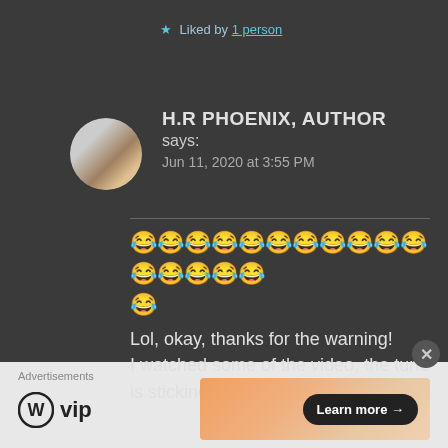★ Liked by 1 person
[Figure (photo): Circular avatar image showing a cat paw held by a human hand]
H.R PHOENIX, AUTHOR says: Jun 11, 2020 at 3:55 PM
😂😂😂😂😂😂😂😂😂😂😂😂😂😂😂😂
Lol, okay, thanks for the warning!
I watched some of the video, the tune is sticking in my head too!
Advertisements
[Figure (logo): WordPress VIP logo]
[Figure (illustration): Advertisement banner with gradient background and Learn more button]